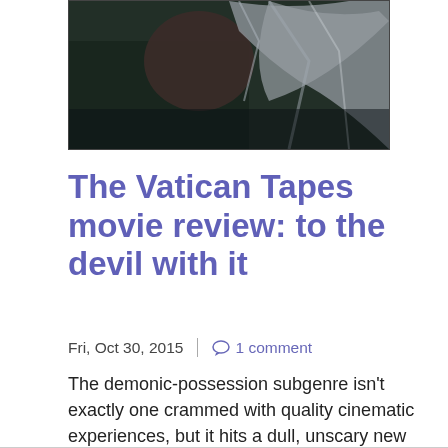[Figure (photo): A dark, moody film still showing a figure with long white/grey hair and shadowed face against a dark green/grey background]
The Vatican Tapes movie review: to the devil with it
Fri, Oct 30, 2015  |  1 comment
The demonic-possession subgenre isn't exactly one crammed with quality cinematic experiences, but it hits a dull, unscary new low with this inept flick.